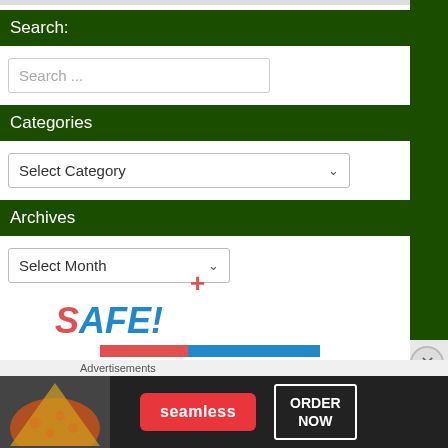Search:
Search ...
Categories
Select Category
Archives
Select Month
[Figure (logo): SAFE! logo with red S and blue AFE! text, colored horizontal bar below]
Advertisements
[Figure (screenshot): Seamless food delivery advertisement banner with pizza image, Seamless red button, and ORDER NOW button]